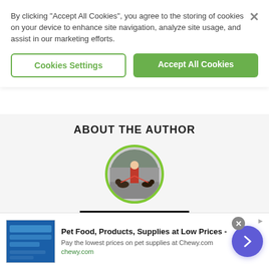By clicking “Accept All Cookies”, you agree to the storing of cookies on your device to enhance site navigation, analyze site usage, and assist in our marketing efforts.
Cookies Settings
Accept All Cookies
ABOUT THE AUTHOR
[Figure (photo): Circular profile photo of author Josh Davis with a green border, showing a person with dogs on a leash outdoors.]
JOSH DAVIS
Staff Writer
Pet Food, Products, Supplies at Low Prices - Pay the lowest prices on pet supplies at Chewy.com chewy.com